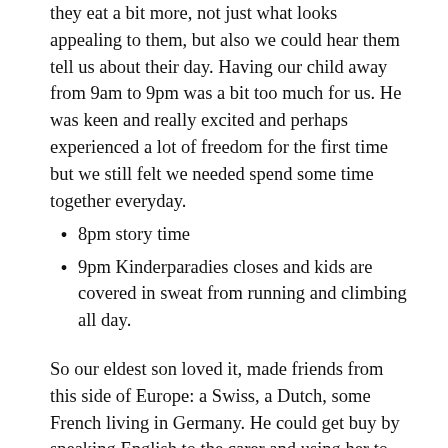they eat a bit more, not just what looks appealing to them, but also we could hear them tell us about their day. Having our child away from 9am to 9pm was a bit too much for us. He was keen and really excited and perhaps experienced a lot of freedom for the first time but we still felt we needed spend some time together everyday.
8pm story time
9pm Kinderparadies closes and kids are covered in sweat from running and climbing all day.
So our eldest son loved it, made friends from this side of Europe: a Swiss, a Dutch, some French living in Germany. He could get buy by speaking English to the carer and using her to translate to the others. Also you realise how easy it is at that age to play and make yourself understood with minimum vocabulary. It's all action. His little brother was less keen to go there every morning. Probably his clingy nature.